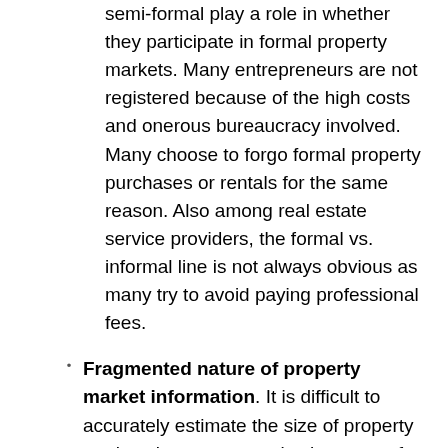semi-formal play a role in whether they participate in formal property markets. Many entrepreneurs are not registered because of the high costs and onerous bureaucracy involved. Many choose to forgo formal property purchases or rentals for the same reason. Also among real estate service providers, the formal vs. informal line is not always obvious as many try to avoid paying professional fees.
Fragmented nature of property market information. It is difficult to accurately estimate the size of property markets in many countries because of the fragmented and opaque nature of real estate information and deliberate reporting of false information to